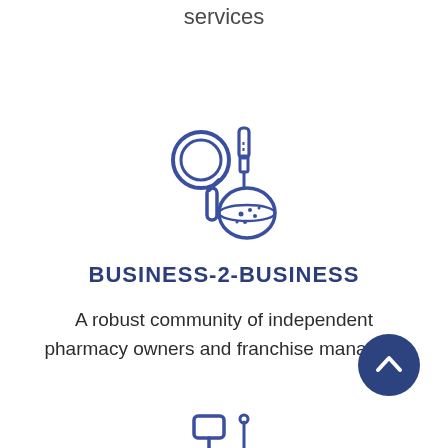services
[Figure (illustration): Lab/science icon: magnifying glass and dropper bottle with Petri dish, drawn in blue outline style]
BUSINESS-2-BUSINESS
A robust community of independent pharmacy owners and franchise managers
[Figure (illustration): Circular scroll-to-top button with upward chevron arrow, dark blue fill]
[Figure (illustration): Partial icon visible at bottom of page]